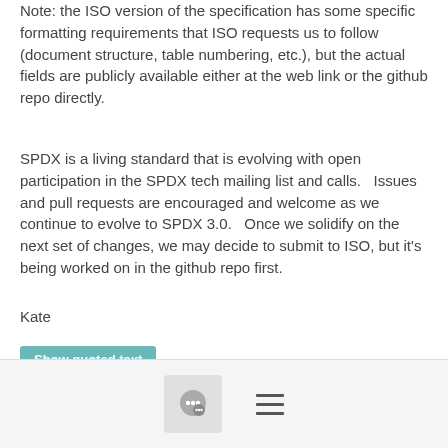Note: the ISO version of the specification has some specific formatting requirements that ISO requests us to follow (document structure, table numbering, etc.), but the actual fields are publicly available either at the web link or the github repo directly.
SPDX is a living standard that is evolving with open participation in the SPDX tech mailing list and calls.   Issues and pull requests are encouraged and welcome as we continue to evolve to SPDX 3.0.   Once we solidify on the next set of changes, we may decide to submit to ISO, but it's being worked on in the github repo first.
Kate
Show quoted text
[Figure (screenshot): A footer navigation bar with a chat bubble icon in a grey box and a hamburger menu icon]